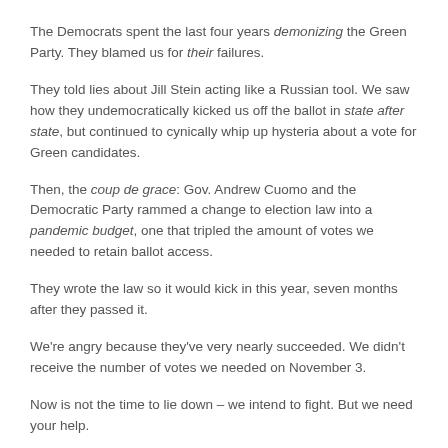The Democrats spent the last four years demonizing the Green Party. They blamed us for their failures.
They told lies about Jill Stein acting like a Russian tool. We saw how they undemocratically kicked us off the ballot in state after state, but continued to cynically whip up hysteria about a vote for Green candidates.
Then, the coup de grace: Gov. Andrew Cuomo and the Democratic Party rammed a change to election law into a pandemic budget, one that tripled the amount of votes we needed to retain ballot access.
They wrote the law so it would kick in this year, seven months after they passed it.
We're angry because they've very nearly succeeded. We didn't receive the number of votes we needed on November 3.
Now is not the time to lie down – we intend to fight. But we need your help.